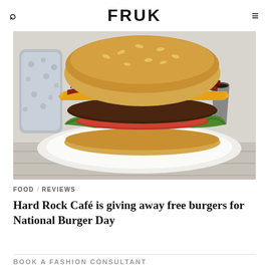FRUK
[Figure (photo): Close-up photo of a gourmet burger with cheese, bacon, lettuce, tomato on a sesame bun, served on a white plate with a dipping sauce, on a wooden surface.]
FOOD / REVIEWS
Hard Rock Café is giving away free burgers for National Burger Day
BOOK A FASHION CONSULTANT